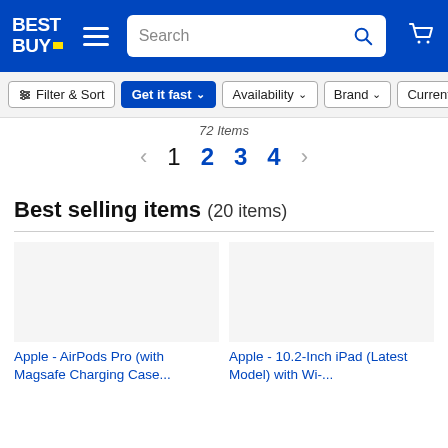Best Buy header with logo, hamburger menu, search bar, and cart icon
Filter & Sort | Get it fast | Availability | Brand | Current
72 items
1  2  3  4
Best selling items (20 items)
Apple - AirPods Pro (with Magsafe Charging Case...
Apple - 10.2-Inch iPad (Latest Model) with Wi-...